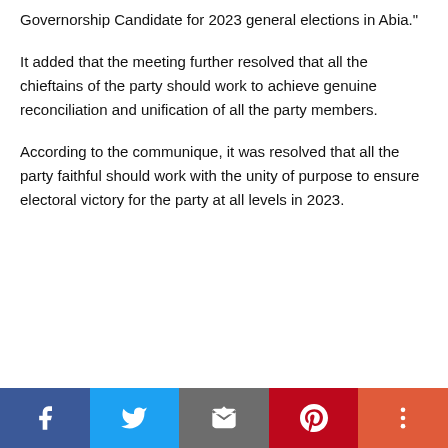Governorship Candidate for 2023 general elections in Abia."
It added that the meeting further resolved that all the chieftains of the party should work to achieve genuine reconciliation and unification of all the party members.
According to the communique, it was resolved that all the party faithful should work with the unity of purpose to ensure electoral victory for the party at all levels in 2023.
[Figure (other): Social sharing bar with Facebook, Twitter, Email, Pinterest, and More buttons]